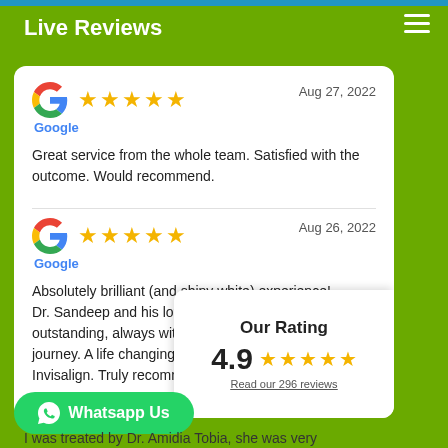Live Reviews
★★★★★ Google  Aug 27, 2022
Great service from the whole team. Satisfied with the outcome. Would recommend.
★★★★★ Google  Aug 26, 2022
Absolutely brilliant (and shiny white) experience! Dr. Sandeep and his lovely assistant are outstanding, always with you throughout the journey. A life changing expe Invisalign. Truly recommend
Our Rating
4.9 ★★★★★
Read our 296 reviews
Whatsapp Us
I was treated by Dr. Amidia Tobia, she was very